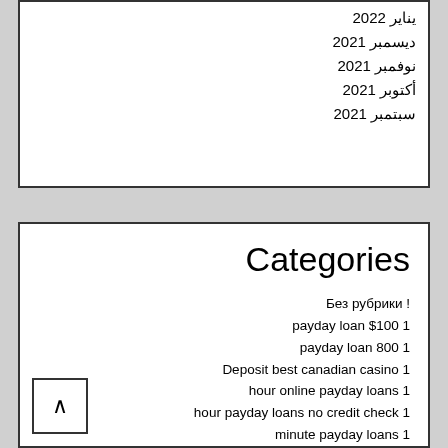يناير 2022
ديسمبر 2021
نوفمبر 2021
أكتوبر 2021
سبتمبر 2021
Categories
Без рубрики !
payday loan $100 1
payday loan 800 1
Deposit best canadian casino 1
hour online payday loans 1
hour payday loans no credit check 1
minute payday loans 1
month installment loans 12
payday loans 123
payday loans 1800
1hr payday loans
1st payday loans
1stclassdating-main dating sites
1stclassdating-main who is taylor swift dating